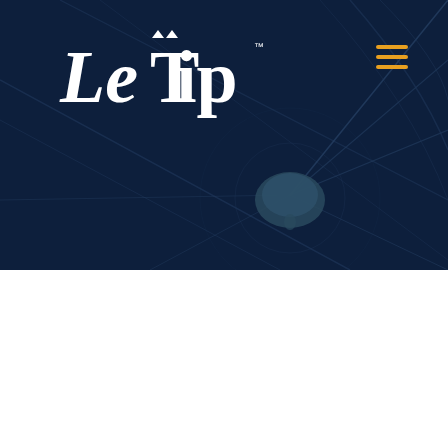[Figure (screenshot): LeTip website header with dark navy background showing an abstract city map network graphic with lines and a location pin icon in the center-right area.]
LeTip of San Ramon, CA